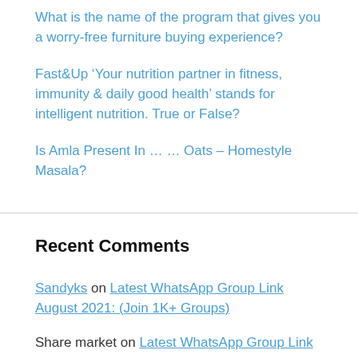What is the name of the program that gives you a worry-free furniture buying experience?
Fast&Up ‘Your nutrition partner in fitness, immunity & daily good health’ stands for intelligent nutrition. True or False?
Is Amla Present In … … Oats – Homestyle Masala?
Recent Comments
Sandyks on Latest WhatsApp Group Link August 2021: (Join 1K+ Groups)
Share market on Latest WhatsApp Group Link…